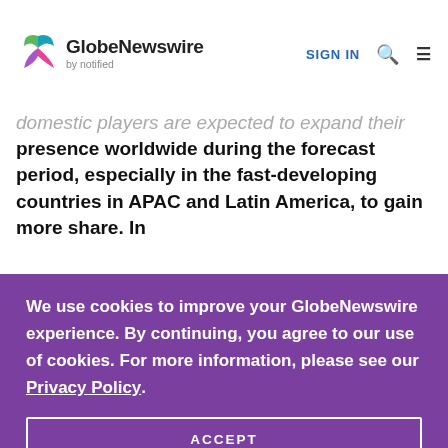GlobeNewswire by notified | SIGN IN
domestic players are expected to expand their presence worldwide during the forecast period, especially in the fast-developing countries in APAC and Latin America, to gain more share. In
We use cookies to improve your GlobeNewswire experience. By continuing, you agree to our use of cookies. For more information, please see our Privacy Policy.
ACCEPT